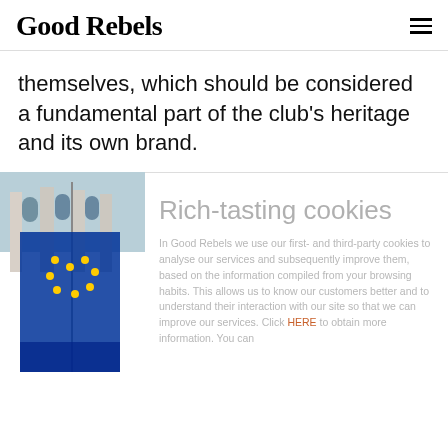Good Rebels
themselves, which should be considered a fundamental part of the club's heritage and its own brand.
[Figure (photo): Photo of a person holding a European Union flag with stars visible, in front of a building with arched windows. The image is partially visible on the left side of the page.]
Rich-tasting cookies
In Good Rebels we use our first- and third-party cookies to analyse our services and subsequently improve them, based on the information compiled from your browsing habits. This allows us to know our customers better and to understand their interaction with our site so that we can improve our services. Click HERE to obtain more information. You can